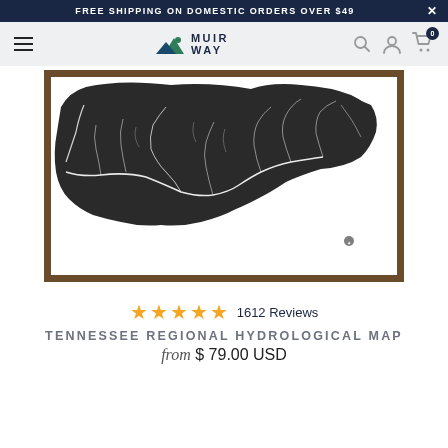FREE SHIPPING ON DOMESTIC ORDERS OVER $49
[Figure (logo): Muir Way logo with mountain icon and text MUIR WAY]
[Figure (map): Tennessee regional hydrological map showing river networks on dark background, framed in wood]
1612 Reviews
TENNESSEE REGIONAL HYDROLOGICAL MAP
from $ 79.00 USD